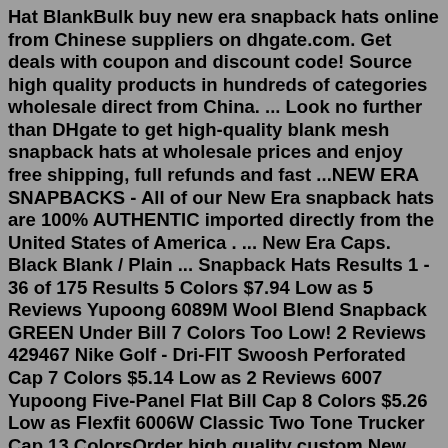Hat BlankBulk buy new era snapback hats online from Chinese suppliers on dhgate.com. Get deals with coupon and discount code! Source high quality products in hundreds of categories wholesale direct from China. ... Look no further than DHgate to get high-quality blank mesh snapback hats at wholesale prices and enjoy free shipping, full refunds and fast ...NEW ERA SNAPBACKS - All of our New Era snapback hats are 100% AUTHENTIC imported directly from the United States of America . ... New Era Caps. Black Blank / Plain ... Snapback Hats Results 1 - 36 of 175 Results 5 Colors $7.94 Low as 5 Reviews Yupoong 6089M Wool Blend Snapback GREEN Under Bill 7 Colors Too Low! 2 Reviews 429467 Nike Golf - Dri-FIT Swoosh Perforated Cap 7 Colors $5.14 Low as 2 Reviews 6007 Yupoong Five-Panel Flat Bill Cap 8 Colors $5.26 Low as Flexfit 6006W Classic Two Tone Trucker Cap 13 ColorsOrder high quality custom New Era 59fifty hats for your team or organization, price starts at $15.95/cap. Top It Off Hat Co. Call 815.206.4151